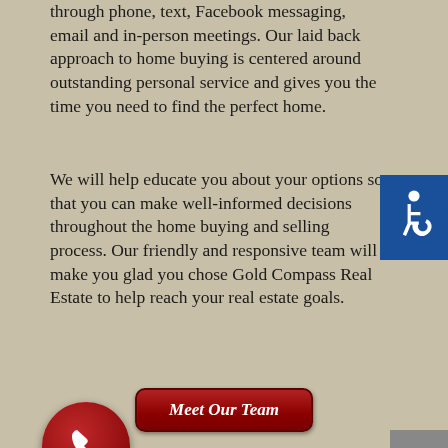through phone, text, Facebook messaging, email and in-person meetings. Our laid back approach to home buying is centered around outstanding personal service and gives you the time you need to find the perfect home.
We will help educate you about your options so that you can make well-informed decisions throughout the home buying and selling process. Our friendly and responsive team will make you glad you chose Gold Compass Real Estate to help reach your real estate goals.
[Figure (other): Blue square accessibility icon with wheelchair user symbol in white]
Meet Our Team
[Figure (other): Gray scroll-to-top button with white upward chevron]
[Figure (other): Dark red circular phone/call button with white phone handset icon]